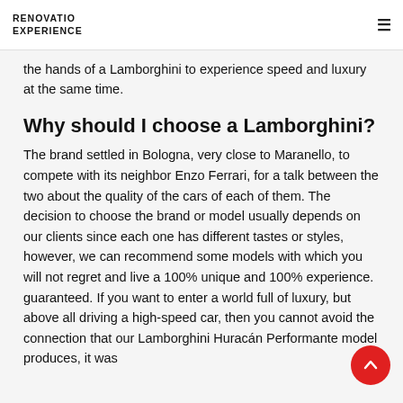RENOVATIO EXPERIENCE
the hands of a Lamborghini to experience speed and luxury at the same time.
Why should I choose a Lamborghini?
The brand settled in Bologna, very close to Maranello, to compete with its neighbor Enzo Ferrari, for a talk between the two about the quality of the cars of each of them. The decision to choose the brand or model usually depends on our clients since each one has different tastes or styles, however, we can recommend some models with which you will not regret and live a 100% unique and 100% experience. guaranteed. If you want to enter a world full of luxury, but above all driving a high-speed car, then you cannot avoid the connection that our Lamborghini Huracán Performante model produces, it was